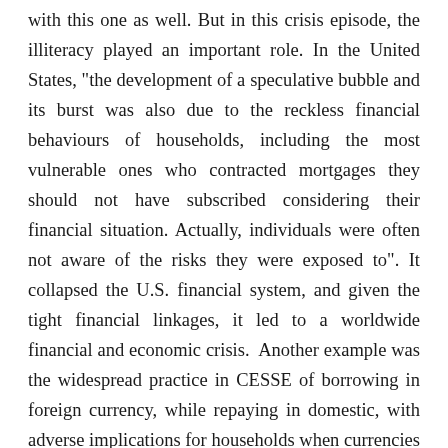with this one as well. But in this crisis episode, the illiteracy played an important role. In the United States, "the development of a speculative bubble and its burst was also due to the reckless financial behaviours of households, including the most vulnerable ones who contracted mortgages they should not have subscribed considering their financial situation. Actually, individuals were often not aware of the risks they were exposed to". It collapsed the U.S. financial system, and given the tight financial linkages, it led to a worldwide financial and economic crisis.  Another example was the widespread practice in CESSE of borrowing in foreign currency, while repaying in domestic, with adverse implications for households when currencies appreciated. In some countries, individuals undertook investment risk as